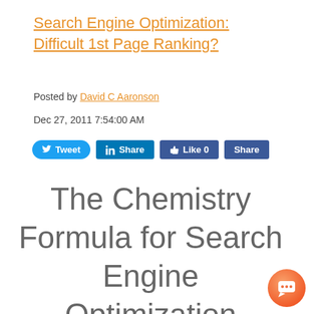Search Engine Optimization: Difficult 1st Page Ranking?
Posted by David C Aaronson
Dec 27, 2011 7:54:00 AM
[Figure (infographic): Social sharing buttons: Tweet (Twitter), Share (LinkedIn), Like 0 (Facebook), Share (Facebook)]
The Chemistry Formula for Search Engine Optimization
[Figure (illustration): Orange/pink circular chat bubble icon in bottom right corner]